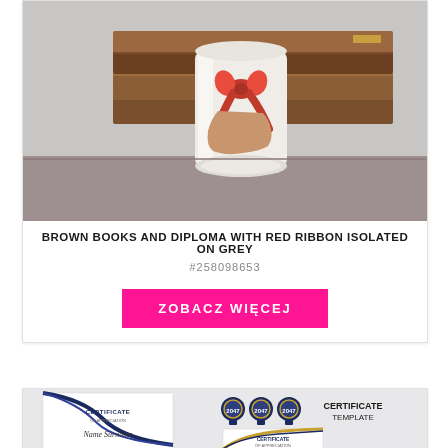[Figure (photo): Rolled white diploma with red ribbon tied around it, leaning against a stack of brown books on a grey surface]
BROWN BOOKS AND DIPLOMA WITH RED RIBBON ISOLATED ON GREY
#258098653
ZOBACZ WIĘCEJ
[Figure (illustration): Certificate template design showing two certificate layouts with blue and gold wave decorations, medal badges labeled 2017, and text reading CERTIFICATE OF APPRECIATION, Name Surname, CERTIFICATE TEMPLATE]